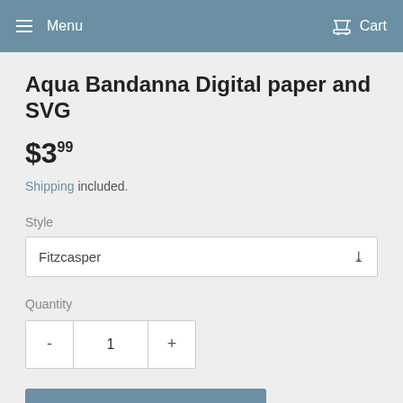Menu   Cart
Aqua Bandanna Digital paper and SVG
$3.99
Shipping included.
Style
Fitzcasper
Quantity
- 1 +
ADD TO CART